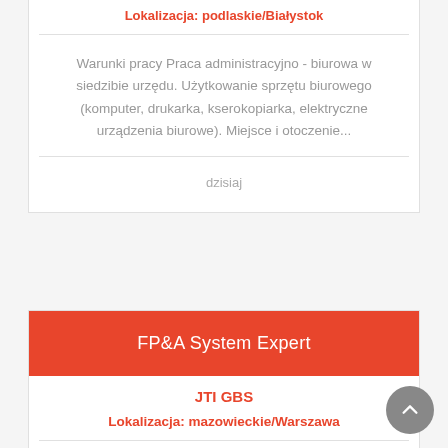Lokalizacja: podlaskie/Białystok
Warunki pracy Praca administracyjno - biurowa w siedzibie urzędu. Użytkowanie sprzętu biurowego (komputer, drukarka, kserokopiarka, elektryczne urządzenia biurowe). Miejsce i otoczenie...
dzisiaj
FP&A System Expert
JTI GBS
Lokalizacja: mazowieckie/Warszawa
Our offer includes: A competitive pay (together with annual bonus) and an attractive benefits...